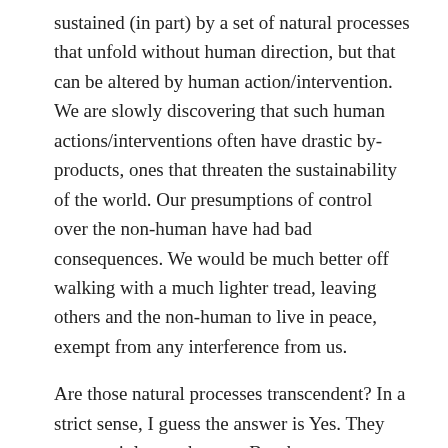sustained (in part) by a set of natural processes that unfold without human direction, but that can be altered by human action/intervention.  We are slowly discovering that such human actions/interventions often have drastic by-products, ones that threaten the sustainability of the world.  Our presumptions of control over the non-human have had bad consequences.  We would be much better off walking with a much lighter tread, leaving others and the non-human to live in peace, exempt from any interference from us.
Are those natural processes transcendent?  In a strict sense, I guess the answer is Yes.  They are certainly non-human.  But they are not transcendent in the more religious sense because they are not, in my view, a source of meaning, or some kind of “personal” entity to which we can have a call-and-response (dialogic) relation.  Taylor